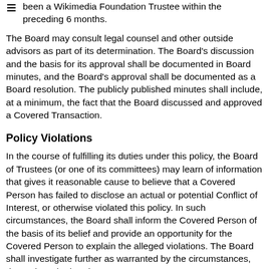been a Wikimedia Foundation Trustee within the preceding 6 months.
The Board may consult legal counsel and other outside advisors as part of its determination. The Board's discussion and the basis for its approval shall be documented in Board minutes, and the Board's approval shall be documented as a Board resolution. The publicly published minutes shall include, at a minimum, the fact that the Board discussed and approved a Covered Transaction.
Policy Violations
In the course of fulfilling its duties under this policy, the Board of Trustees (or one of its committees) may learn of information that gives it reasonable cause to believe that a Covered Person has failed to disclose an actual or potential Conflict of Interest, or otherwise violated this policy. In such circumstances, the Board shall inform the Covered Person of the basis of its belief and provide an opportunity for the Covered Person to explain the alleged violations. The Board shall investigate further as warranted by the circumstances, determine whether there was a